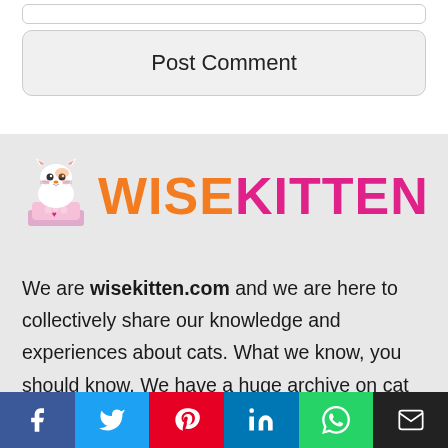[Figure (other): Top input bar (text field, partially visible)]
[Figure (other): Post Comment button]
[Figure (logo): WiseKitten logo with cartoon cat and colorful WISEKITTEN text]
We are wisekitten.com and we are here to collectively share our knowledge and experiences about cats. What we know, you should know. We have a huge archive on cat breeds and we also research and write about cat care, nutrition, training, health, news, etc. Remember sharing knowledge is important but all we can do is giving you advice. Please be responsible and contact your
[Figure (other): Social share bar with Facebook, Twitter, Pinterest, LinkedIn, WhatsApp, and Email buttons]